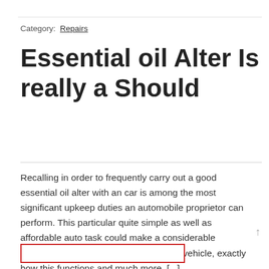Category:  Repairs
Essential oil Alter Is really a Should
Recalling in order to frequently carry out a good essential oil alter with an car is among the most significant upkeep duties an automobile proprietor can perform. This particular quite simple as well as affordable auto task could make a considerable distinction within the durability from the vehicle, exactly how this functions and much more. [...]